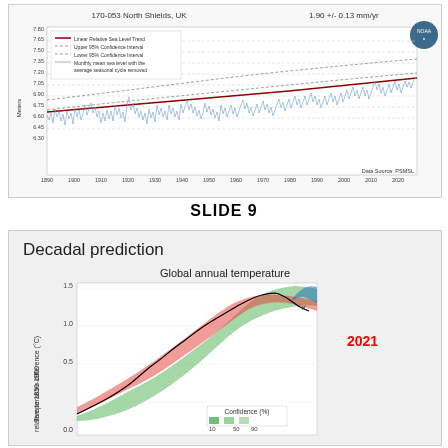[Figure (continuous-plot): Line chart of relative sea level trend for North Shields, UK from 1890 to 2020. Shows monthly mean sea level with average seasonal cycle removed (blue noisy line), linear relative sea level trend (dark red line), upper and lower 95% confidence intervals (dashed lines). Y-axis labeled Meters ranging from 6.30 to 7.80. Data Source: PSMSL.]
SLIDE 9
[Figure (continuous-plot): Area/line chart showing global annual temperature difference (°C) relative to 1850-1900. Features a black observed line, red shaded confidence band, green wider confidence band, and a blue shaded region near the end. X marks appear near 2021. Confidence (%) legend shows 10, 50, 90. Y-axis from 0.0 to above 1.5. Red label '2021' appears on the right side.]